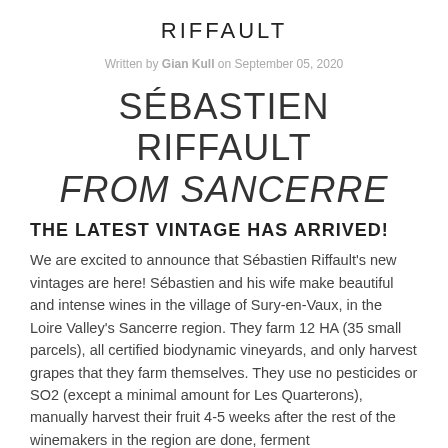RIFFAULT
Written by Gian Kull on September 05, 2020
SÉBASTIEN RIFFAULT FROM SANCERRE
THE LATEST VINTAGE HAS ARRIVED!
We are excited to announce that Sébastien Riffault's new vintages are here! Sébastien and his wife make beautiful and intense wines in the village of Sury-en-Vaux, in the Loire Valley's Sancerre region. They farm 12 HA (35 small parcels), all certified biodynamic vineyards, and only harvest grapes that they farm themselves. They use no pesticides or SO2 (except a minimal amount for Les Quarterons), manually harvest their fruit 4-5 weeks after the rest of the winemakers in the region are done, ferment